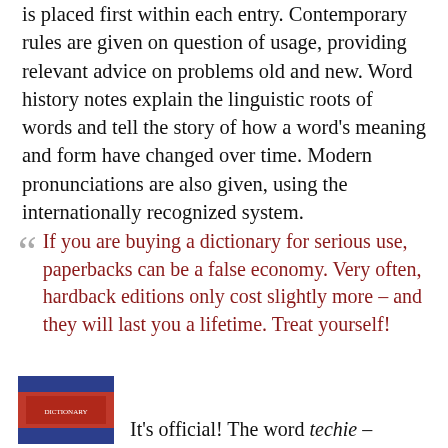is placed first within each entry. Contemporary rules are given on question of usage, providing relevant advice on problems old and new. Word history notes explain the linguistic roots of words and tell the story of how a word's meaning and form have changed over time. Modern pronunciations are also given, using the internationally recognized system.
If you are buying a dictionary for serious use, paperbacks can be a false economy. Very often, hardback editions only cost slightly more – and they will last you a lifetime. Treat yourself!
It's official! The word techie –